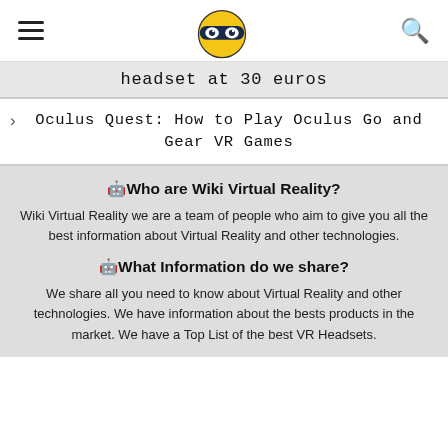Wiki Virtual Reality logo, hamburger menu, search icon
headset at 30 euros
Oculus Quest: How to Play Oculus Go and Gear VR Games
🤖Who are Wiki Virtual Reality?
Wiki Virtual Reality we are a team of people who aim to give you all the best information about Virtual Reality and other technologies.
🤖What Information do we share?
We share all you need to know about Virtual Reality and other technologies. We have information about the bests products in the market. We have a Top List of the best VR Headsets.